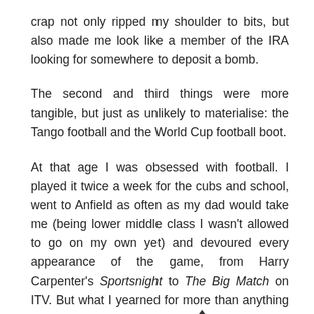crap not only ripped my shoulder to bits, but also made me look like a member of the IRA looking for somewhere to deposit a bomb.
The second and third things were more tangible, but just as unlikely to materialise: the Tango football and the World Cup football boot.
At that age I was obsessed with football. I played it twice a week for the cubs and school, went to Anfield as often as my dad would take me (being lower middle class I wasn't allowed to go on my own yet) and devoured every appearance of the game, from Harry Carpenter's Sportsnight to The Big Match on ITV. But what I yearned for more than anything else was the World Cup to come around. And in 1982, it did.